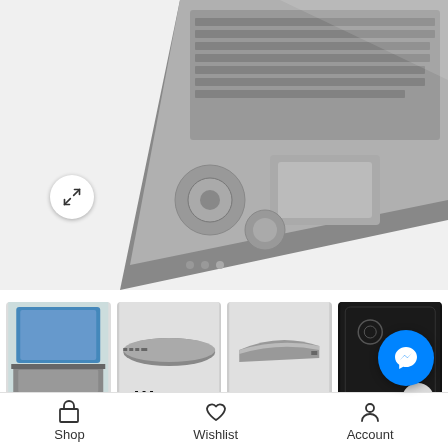[Figure (photo): Close-up photo of HP laptop keyboard and touchpad from above, showing dark metallic finish with circular design elements]
[Figure (photo): Four thumbnail images of HP Pavilion DV6 laptop: full laptop open with blue screen, front view closed, side view closed, and rear/lid view showing dark back cover with HP logo]
[Figure (logo): Hewlett Packard HP logo in blue circle with HEWLETT PACKARD text]
HP Pavilion DV6 Laptop 15.6"
Shop  Wishlist  Account